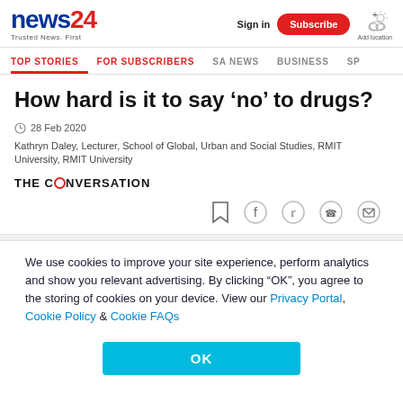news24 - Trusted News. First | Sign in | Subscribe | Add location
TOP STORIES | FOR SUBSCRIBERS | SA NEWS | BUSINESS | SP
How hard is it to say ‘no’ to drugs?
28 Feb 2020
Kathryn Daley, Lecturer, School of Global, Urban and Social Studies, RMIT University, RMIT University
THE CONVERSATION
We use cookies to improve your site experience, perform analytics and show you relevant advertising. By clicking “OK”, you agree to the storing of cookies on your device. View our Privacy Portal, Cookie Policy & Cookie FAQs